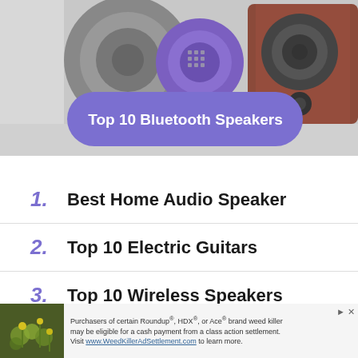[Figure (photo): Photo of bluetooth speakers (grey, purple, and wood-finish) with a purple pill-shaped label overlay reading 'Top 10 Bluetooth Speakers']
Top 10 Bluetooth Speakers
1. Best Home Audio Speaker
2. Top 10 Electric Guitars
3. Top 10 Wireless Speakers
4. High End Speakers
[Figure (photo): Advertisement banner: photo of weeds/flowers on left, text reads 'Purchasers of certain Roundup®, HDX®, or Ace® brand weed killer may be eligible for a cash payment from a class action settlement. Visit www.WeedKillerAdSettlement.com to learn more.' with a play icon and close X button.]